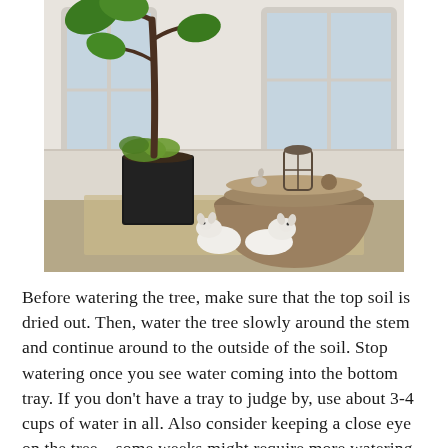[Figure (photo): Interior room photo showing two small white West Highland Terrier dogs lying on a woven rug beneath a round table draped with a tan cloth. A black square planter with a large fiddle-leaf fig tree stands to the left. Decorative objects including a birdcage lantern sit on the table. Bright windows are visible in the background.]
Before watering the tree, make sure that the top soil is dried out. Then, water the tree slowly around the stem and continue around to the outside of the soil. Stop watering once you see water coming into the bottom tray. If you don't have a tray to judge by, use about 3-4 cups of water in all. Also consider keeping a close eye on the tree – some weeks might require more watering than others. Another way to care for the tree is to give it some fresh air once in a while